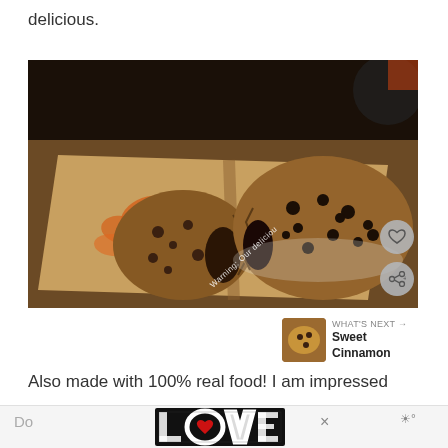delicious.
[Figure (photo): A large chocolate chip cookie broken in half on a kraft paper wrapper with orange leaf/flower branding design. Text on wrapper reads 'Warning: Our delicious'. A heart icon button and share icon button are visible on the right side.]
WHAT'S NEXT → Sweet Cinnamon
Also made with 100% real food! I am impressed
Do
[Figure (logo): LOVE text logo in decorative black and white artistic style with a small red dot, appears to be an advertisement banner]
×
🌤°